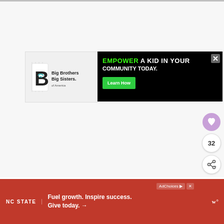[Figure (screenshot): Top strip showing partial images of article thumbnails]
[Figure (logo): Big Brothers Big Sisters of America logo on light background]
[Figure (infographic): Black advertisement banner: EMPOWER A KID IN YOUR COMMUNITY TODAY. with green Learn How button and X close button]
[Figure (infographic): Heart/like button (purple circle), count 32, and share button on right side]
[Figure (infographic): Red bottom banner ad: NC STATE logo, Fuel growth. Inspire success. Give today. with arrow, close button, and W logo on right]